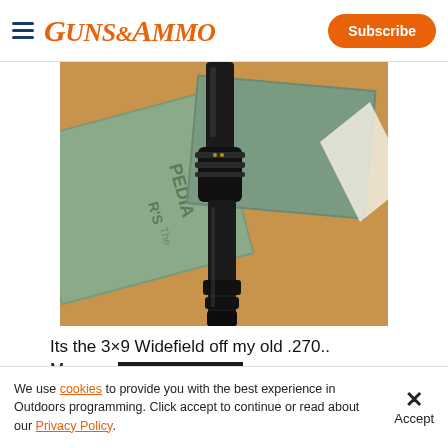GUNS&AMMO — Subscribe
[Figure (photo): Close-up photo of a rifle scope (3x9 Widefield) resting on old encyclopedias on a wooden surface.]
Its the 3×9 Widefield off my old .270..
My ... one a them ne...
[Figure (other): Advertisement banner: Advertisement label overlaid on article text, with Ballistic Advantage logo and SHOP NOW button.]
We use cookies to provide you with the best experience in Outdoors programming. Click accept to continue or read about our Privacy Policy.